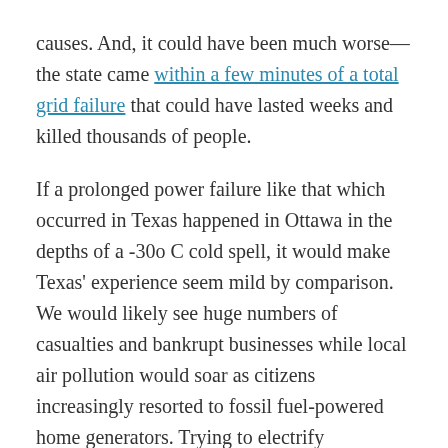causes. And, it could have been much worse—the state came within a few minutes of a total grid failure that could have lasted weeks and killed thousands of people.

If a prolonged power failure like that which occurred in Texas happened in Ottawa in the depths of a -30o C cold spell, it would make Texas' experience seem mild by comparison. We would likely see huge numbers of casualties and bankrupt businesses while local air pollution would soar as citizens increasingly resorted to fossil fuel-powered home generators. Trying to electrify everything, and making wind and solar power our main power source, would be especially hard on low-income Ottawans who are more likely to suffer and die during winter blackouts, as they cannot afford expensive generators or backup battery systems. And, of course, without electricity to charge their electric cars, few people could evacuate the City no matter